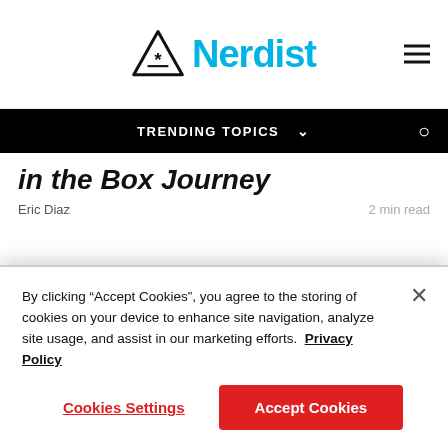Nerdist
TRENDING TOPICS
in the Box Journey
Eric Diaz   2 min read
By clicking “Accept Cookies”, you agree to the storing of cookies on your device to enhance site navigation, analyze site usage, and assist in our marketing efforts.  Privacy Policy
Cookies Settings
Accept Cookies